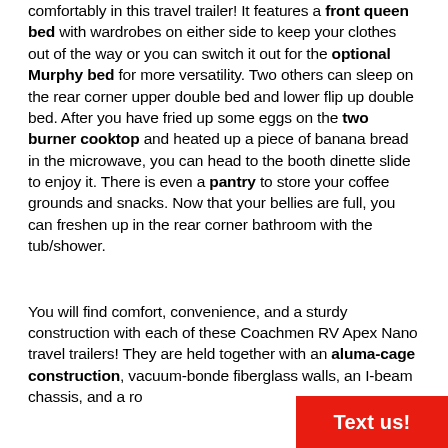comfortably in this travel trailer! It features a front queen bed with wardrobes on either side to keep your clothes out of the way or you can switch it out for the optional Murphy bed for more versatility. Two others can sleep on the rear corner upper double bed and lower flip up double bed. After you have fried up some eggs on the two burner cooktop and heated up a piece of banana bread in the microwave, you can head to the booth dinette slide to enjoy it. There is even a pantry to store your coffee grounds and snacks. Now that your bellies are full, you can freshen up in the rear corner bathroom with the tub/shower.
You will find comfort, convenience, and a sturdy construction with each of these Coachmen RV Apex Nano travel trailers! They are held together with an aluma-cage construction, vacuum-bonded fiberglass walls, an I-beam chassis, and a ro...